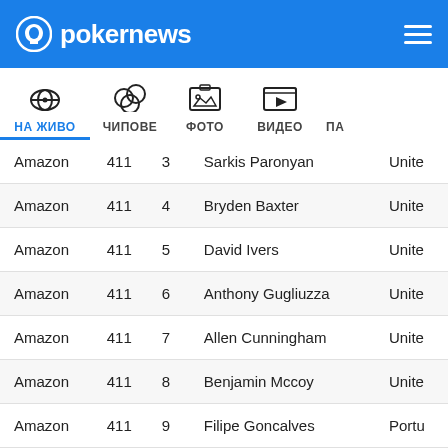pokernews
| Room | Table | Seat | Name | Country |
| --- | --- | --- | --- | --- |
| Amazon | 411 | 3 | Sarkis Paronyan | United |
| Amazon | 411 | 4 | Bryden Baxter | United |
| Amazon | 411 | 5 | David Ivers | United |
| Amazon | 411 | 6 | Anthony Gugliuzza | United |
| Amazon | 411 | 7 | Allen Cunningham | United |
| Amazon | 411 | 8 | Benjamin Mccoy | United |
| Amazon | 411 | 9 | Filipe Goncalves | Portu |